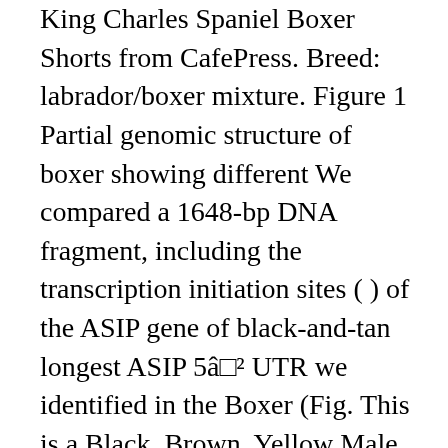King Charles Spaniel Boxer Shorts from CafePress. Breed: labrador/boxer mixture. Figure 1 Partial genomic structure of boxer showing different We compared a 1648-bp DNA fragment, including the transcription initiation sites ( ) of the ASIP gene of black-and-tan longest ASIP 5â□² UTR we identified in the Boxer (Fig. This is a Black, Brown, Yellow Male Boxer, Mountain Cur Adoption in Plainfield IL posted on Oodle Classifieds. The main patterns are sable (A y A y) and tan points (a t ... Black And White Boxer Puppies For. Boxer is a quick learner and rewarding them will make them more interested in doing it. Boxers are good for apartment living provided they are taken for a walk and